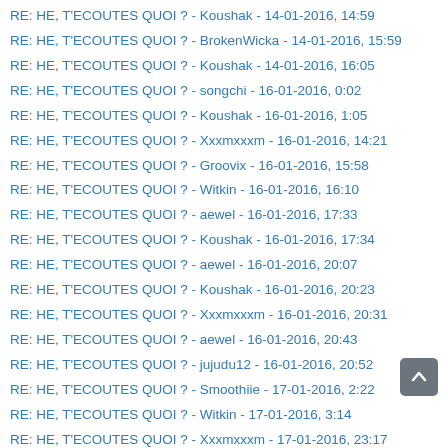RE: HE, T'ECOUTES QUOI ? - Koushak - 14-01-2016, 14:59
RE: HE, T'ECOUTES QUOI ? - BrokenWicka - 14-01-2016, 15:59
RE: HE, T'ECOUTES QUOI ? - Koushak - 14-01-2016, 16:05
RE: HE, T'ECOUTES QUOI ? - songchi - 16-01-2016, 0:02
RE: HE, T'ECOUTES QUOI ? - Koushak - 16-01-2016, 1:05
RE: HE, T'ECOUTES QUOI ? - Xxxmxxxm - 16-01-2016, 14:21
RE: HE, T'ECOUTES QUOI ? - Groovix - 16-01-2016, 15:58
RE: HE, T'ECOUTES QUOI ? - Witkin - 16-01-2016, 16:10
RE: HE, T'ECOUTES QUOI ? - aewel - 16-01-2016, 17:33
RE: HE, T'ECOUTES QUOI ? - Koushak - 16-01-2016, 17:34
RE: HE, T'ECOUTES QUOI ? - aewel - 16-01-2016, 20:07
RE: HE, T'ECOUTES QUOI ? - Koushak - 16-01-2016, 20:23
RE: HE, T'ECOUTES QUOI ? - Xxxmxxxm - 16-01-2016, 20:31
RE: HE, T'ECOUTES QUOI ? - aewel - 16-01-2016, 20:43
RE: HE, T'ECOUTES QUOI ? - jujudu12 - 16-01-2016, 20:52
RE: HE, T'ECOUTES QUOI ? - Smoothiie - 17-01-2016, 2:22
RE: HE, T'ECOUTES QUOI ? - Witkin - 17-01-2016, 3:14
RE: HE, T'ECOUTES QUOI ? - Xxxmxxxm - 17-01-2016, 23:17
RE: HE, T'ECOUTES QUOI ? - Wondercat - 17-01-2016, 23:19
RE: HE, T'ECOUTES QUOI ? - Witkin - 19-01-2016, 1:15
RE: HE, T'ECOUTES QUOI ? - Koushak - 19-01-2016, 18:50
RE: HE, T'ECOUTES QUOI ? - Groovix - 23-01-2016, 17:40
RE: HE, T'ECOUTES QUOI ? - (partially visible)